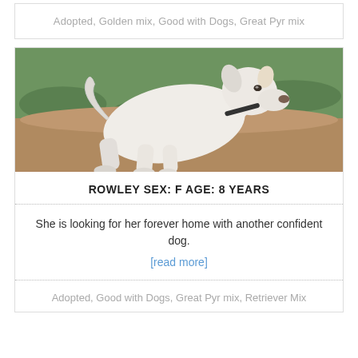Adopted, Golden mix, Good with Dogs, Great Pyr mix
[Figure (photo): White dog (large breed mix) standing outdoors on sandy/dirt ground with green vegetation in background]
ROWLEY SEX: F AGE: 8 YEARS
She is looking for her forever home with another confident dog.
[read more]
Adopted, Good with Dogs, Great Pyr mix, Retriever Mix